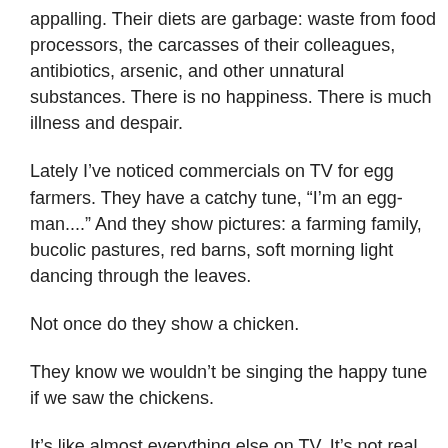appalling. Their diets are garbage: waste from food processors, the carcasses of their colleagues, antibiotics, arsenic, and other unnatural substances. There is no happiness. There is much illness and despair.
Lately I've noticed commercials on TV for egg farmers. They have a catchy tune, “I'm an egg-man....” And they show pictures: a farming family, bucolic pastures, red barns, soft morning light dancing through the leaves.
Not once do they show a chicken.
They know we wouldn’t be singing the happy tune if we saw the chickens.
It’s like almost everything else on TV. It’s not real.